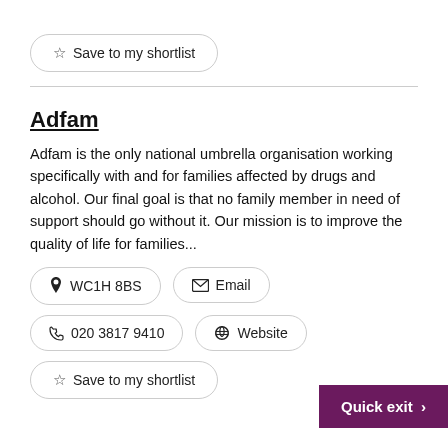☆ Save to my shortlist
Adfam
Adfam is the only national umbrella organisation working specifically with and for families affected by drugs and alcohol. Our final goal is that no family member in need of support should go without it. Our mission is to improve the quality of life for families...
📍 WC1H 8BS
✉ Email
📞 020 3817 9410
🔗 Website
☆ Save to my shortlist
Quick exit >